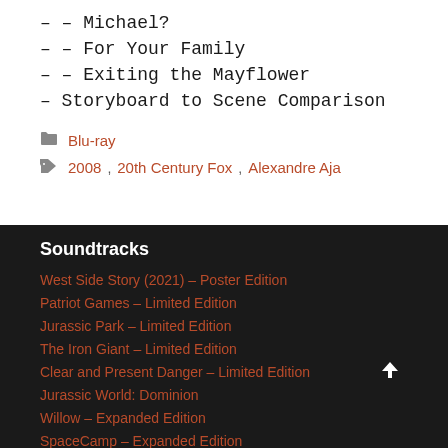– – Michael?
– – For Your Family
– – Exiting the Mayflower
– Storyboard to Scene Comparison
Categories: Blu-ray
Tags: 2008, 20th Century Fox, Alexandre Aja
Soundtracks
West Side Story (2021) – Poster Edition
Patriot Games – Limited Edition
Jurassic Park – Limited Edition
The Iron Giant – Limited Edition
Clear and Present Danger – Limited Edition
Jurassic World: Dominion
Willow – Expanded Edition
SpaceCamp – Expanded Edition